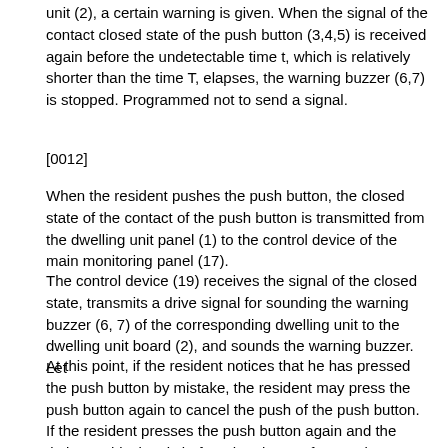unit (2), a certain warning is given. When the signal of the contact closed state of the push button (3,4,5) is received again before the undetectable time t, which is relatively shorter than the time T, elapses, the warning buzzer (6,7) is stopped. Programmed not to send a signal.
[0012]
When the resident pushes the push button, the closed state of the contact of the push button is transmitted from the dwelling unit panel (1) to the control device of the main monitoring panel (17).
The control device (19) receives the signal of the closed state, transmits a drive signal for sounding the warning buzzer (6, 7) of the corresponding dwelling unit to the dwelling unit board (2), and sounds the warning buzzer. Let
At this point, if the resident notices that he has pressed the push button by mistake, the resident may press the push button again to cancel the push of the push button. If the resident presses the push button again and the timing at this time is before the elapse of a certain warning time T from the time of the previous push, the control device (19)